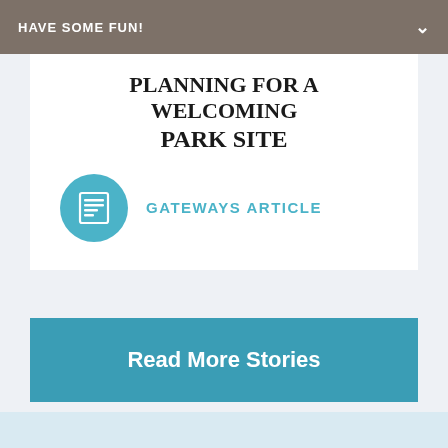HAVE SOME FUN!
PLANNING FOR A WELCOMING PARK SITE
GATEWAYS ARTICLE
Read More Stories